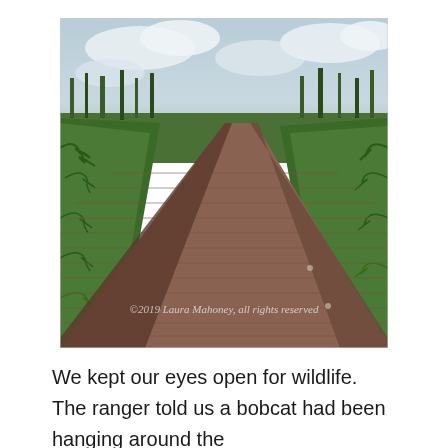[Figure (photo): A wooden boardwalk extending into the distance through a green wetland/swamp area with lush vegetation on both sides. The boardwalk curves slightly to the left into the horizon. Sky is cloudy. A watermark reads: ©2019 Laura Mahoney, all rights reserved]
We kept our eyes open for wildlife. The ranger told us a bobcat had been hanging around the